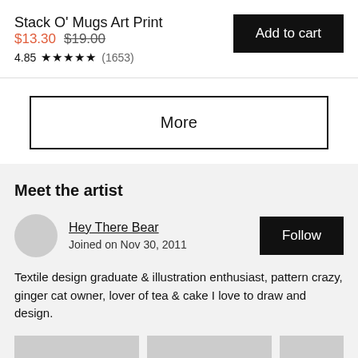Stack O' Mugs Art Print
$13.30 $19.00
4.85 ★★★★★ (1653)
Add to cart
More
Meet the artist
Hey There Bear
Joined on Nov 30, 2011
Follow
Textile design graduate & illustration enthusiast, pattern crazy, ginger cat owner, lover of tea & cake I love to draw and design.
[Figure (photo): Three thumbnail images of artist products at the bottom of the page]